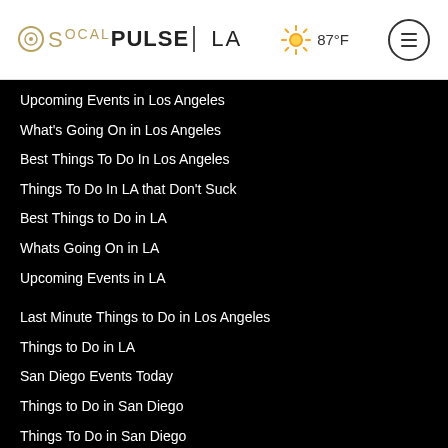SOCALPULSE | LA  87°F
Upcoming Events in Los Angeles
What's Going On in Los Angeles
Best Things To Do In Los Angeles
Things To Do In LA that Don't Suck
Best Things to Do in LA
Whats Going On in LA
Upcoming Events in LA
Last Minute Things to Do in Los Angeles
Things to Do in LA
San Diego Events Today
Things to Do in San Diego
Things To Do in San Diego
San Diego Taco Shop
San Diego Things to See and Do
San Diego Things to Do and See
San Diego Things to Do
San Diego Events Today